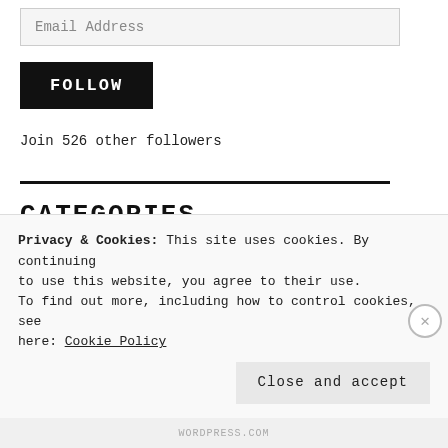Email Address
FOLLOW
Join 526 other followers
CATEGORIES
Select Category
Privacy & Cookies: This site uses cookies. By continuing to use this website, you agree to their use. To find out more, including how to control cookies, see here: Cookie Policy
Close and accept
WORDPRESS.COM